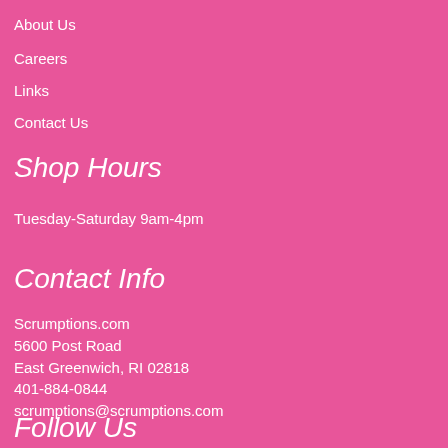About Us
Careers
Links
Contact Us
Shop Hours
Tuesday-Saturday 9am-4pm
Contact Info
Scrumptions.com
5600 Post Road
East Greenwich, RI 02818
401-884-0844
scrumptions@scrumptions.com
Follow Us